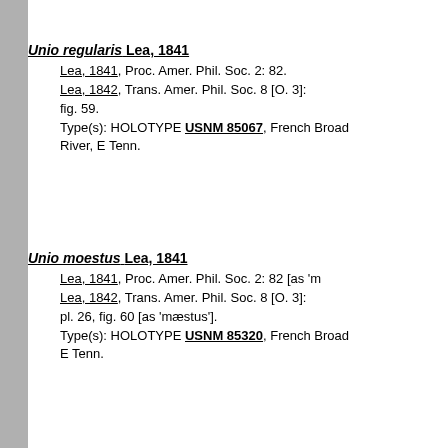Unio regularis Lea, 1841
Lea, 1841, Proc. Amer. Phil. Soc. 2: 82.
Lea, 1842, Trans. Amer. Phil. Soc. 8 [O. 3]: fig. 59.
Type(s): HOLOTYPE USNM 85067, French Broad River, E Tenn.
Unio moestus Lea, 1841
Lea, 1841, Proc. Amer. Phil. Soc. 2: 82 [as 'moestus'].
Lea, 1842, Trans. Amer. Phil. Soc. 8 [O. 3]: pl. 26, fig. 60 [as 'maestus'].
Type(s): HOLOTYPE USNM 85320, French Broad River, E Tenn.